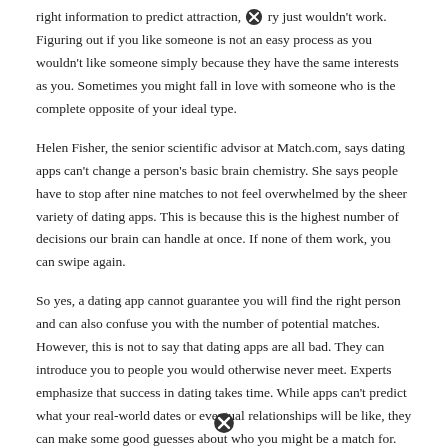right information to predict attraction, [X] ry just wouldn't work. Figuring out if you like someone is not an easy process as you wouldn't like someone simply because they have the same interests as you. Sometimes you might fall in love with someone who is the complete opposite of your ideal type.
Helen Fisher, the senior scientific advisor at Match.com, says dating apps can't change a person's basic brain chemistry. She says people have to stop after nine matches to not feel overwhelmed by the sheer variety of dating apps. This is because this is the highest number of decisions our brain can handle at once. If none of them work, you can swipe again.
So yes, a dating app cannot guarantee you will find the right person and can also confuse you with the number of potential matches. However, this is not to say that dating apps are all bad. They can introduce you to people you would otherwise never meet. Experts emphasize that success in dating takes time. While apps can't predict what your real-world dates or eventual relationships will be like, they can make some good guesses about who you might be a match for.